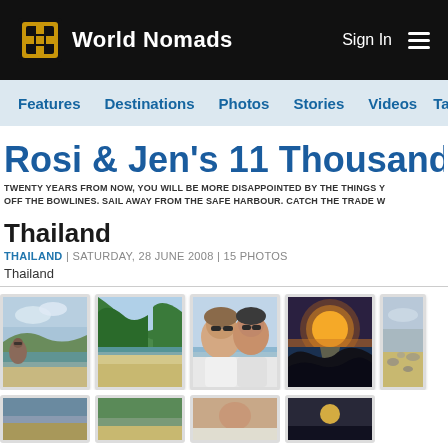World Nomads
Features | Destinations | Photos | Stories | Videos | Ta...
Rosi & Jen's 11 Thousand Beac...
TWENTY YEARS FROM NOW, YOU WILL BE MORE DISAPPOINTED BY THE THINGS Y... OFF THE BOWLINES. SAIL AWAY FROM THE SAFE HARBOUR. CATCH THE TRADE W...
Thailand
THAILAND | SATURDAY, 28 JUNE 2008 | 15 PHOTOS
Thailand
[Figure (photo): Beach scene with person, sand and sky]
[Figure (photo): Green hillside with beach and water]
[Figure (photo): Two women with sunglasses selfie at beach]
[Figure (photo): Sunset over water with rocks and silhouette]
[Figure (photo): Partially visible photo on right edge]